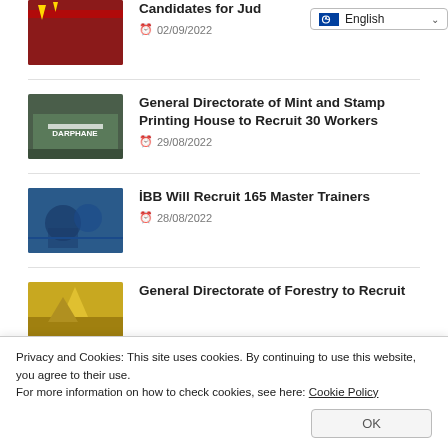Candidates for Jud…
02/09/2022
General Directorate of Mint and Stamp Printing House to Recruit 30 Workers
29/08/2022
İBB Will Recruit 165 Master Trainers
28/08/2022
General Directorate of Forestry to Recruit
Privacy and Cookies: This site uses cookies. By continuing to use this website, you agree to their use.
For more information on how to check cookies, see here: Cookie Policy
OK